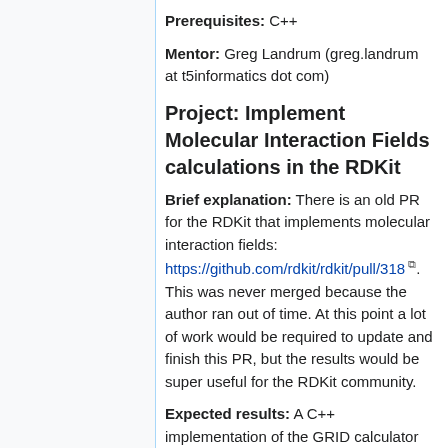Prerequisites: C++
Mentor: Greg Landrum (greg.landrum at t5informatics dot com)
Project: Implement Molecular Interaction Fields calculations in the RDKit
Brief explanation: There is an old PR for the RDKit that implements molecular interaction fields: https://github.com/rdkit/rdkit/pull/318. This was never merged because the author ran out of time. At this point a lot of work would be required to update and finish this PR, but the results would be super useful for the RDKit community.
Expected results: A C++ implementation of the GRID calculator along with a decent set of tests